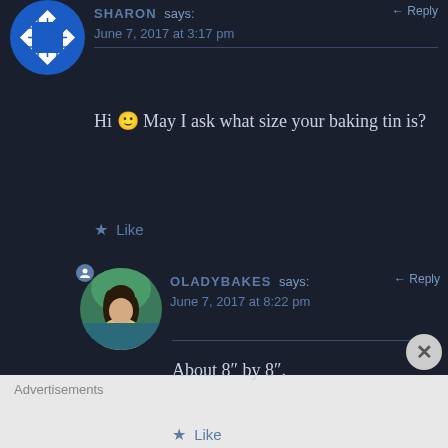[Figure (logo): Sharon avatar: blue and white geometric/grid circle logo]
SHARON says:
← Reply
June 7, 2017 at 3:17 pm
Hi 🙂 May I ask what size your baking tin is?
★ Like
[Figure (photo): OLadyBakes avatar: circular photo of a woman with dark hair]
OLADYBAKES says:
← Reply
June 7, 2017 at 8:22 pm
About 8" by 8".
★ Like
Advertisements